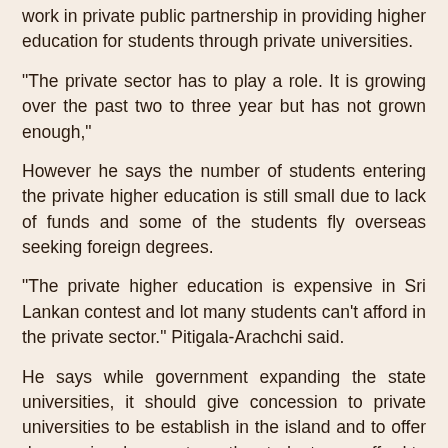work in private public partnership in providing higher education for students through private universities.
"The private sector has to play a role. It is growing over the past two to three year but has not grown enough,"
However he says the number of students entering the private higher education is still small due to lack of funds and some of the students fly overseas seeking foreign degrees.
"The private higher education is expensive in Sri Lankan contest and lot many students can't afford in the private sector." Pitigala-Arachchi said.
He says while government expanding the state universities, it should give concession to private universities to be establish in the island and to offer degrees in a lower rate so the students can afford to do the degree within the country and most students can be